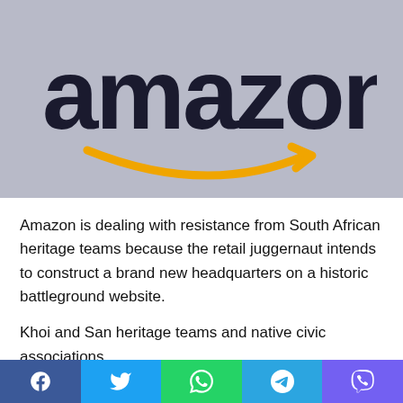[Figure (logo): Amazon logo — dark navy 'amazon' wordmark with yellow smile arrow beneath, on a light grey/lavender background]
Amazon is dealing with resistance from South African heritage teams because the retail juggernaut intends to construct a brand new headquarters on a historic battleground website.
Khoi and San heritage teams and native civic associations
Facebook | Twitter | WhatsApp | Telegram | Viber — social share buttons